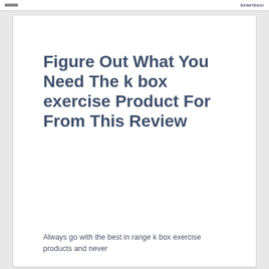bewelbour
Figure Out What You Need The k box exercise Product For From This Review
Always go with the best in range k box exercise products and never